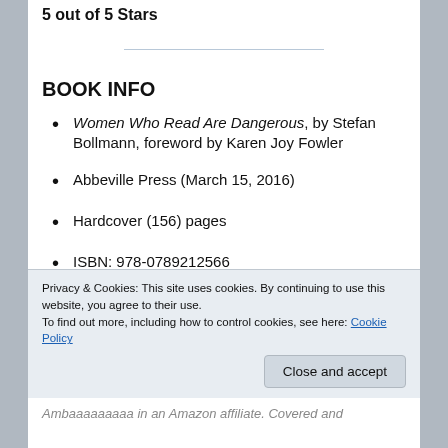5 out of 5 Stars
BOOK INFO
Women Who Read Are Dangerous, by Stefan Bollmann, foreword by Karen Joy Fowler
Abbeville Press (March 15, 2016)
Hardcover (156) pages
ISBN: 978-0789212566
Genre: Literary Criticism, Art History
Privacy & Cookies: This site uses cookies. By continuing to use this website, you agree to their use. To find out more, including how to control cookies, see here: Cookie Policy